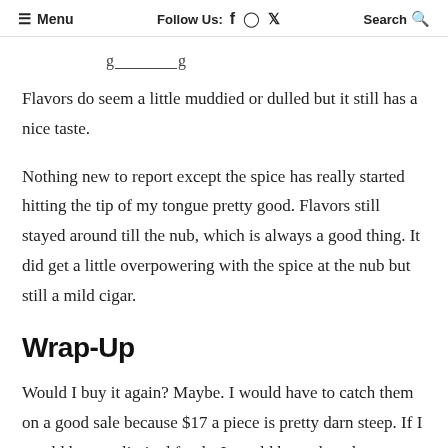≡ Menu   Follow Us: f ⊙ 𝕥   Search 🔍
Flavors do seem a little muddied or dulled but it still has a nice taste.
Nothing new to report except the spice has really started hitting the tip of my tongue pretty good. Flavors still stayed around till the nub, which is always a good thing. It did get a little overpowering with the spice at the nub but still a mild cigar.
Wrap-Up
Would I buy it again? Maybe. I would have to catch them on a good sale because $17 a piece is pretty darn steep. If I would have unlimited funds, I would buy a bunch to